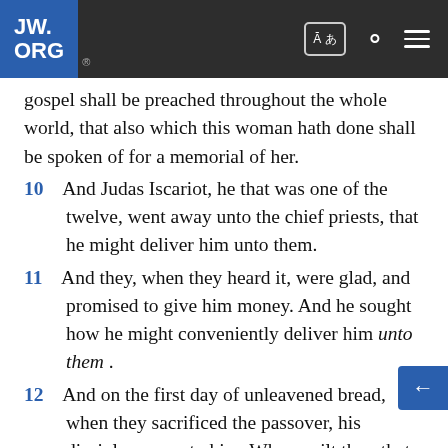JW.ORG
gospel shall be preached throughout the whole world, that also which this woman hath done shall be spoken of for a memorial of her.
10   And Judas Iscariot, he that was one of the twelve, went away unto the chief priests, that he might deliver him unto them.
11   And they, when they heard it, were glad, and promised to give him money. And he sought how he might conveniently deliver him unto them .
12   And on the first day of unleavened bread, when they sacrificed the passover, his disciples say unto him, Where wilt thou that we go and make ready that thou mayest eat the passover?
13   And he sendeth two of his disciples, and saith unto them, Go into the city, and there shall meet you a